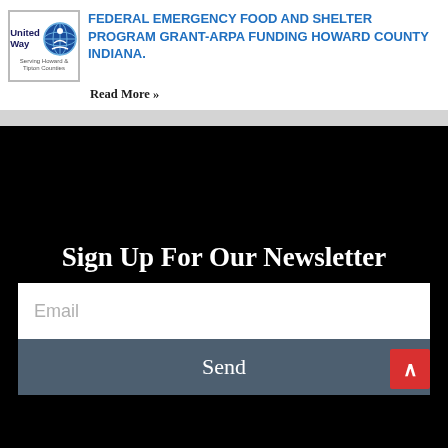FEDERAL EMERGENCY FOOD AND SHELTER PROGRAM GRANT-ARPA Funding Howard County Indiana.
Serving Howard & Tipton Counties
Read More »
Sign Up For Our Newsletter
Email
Send